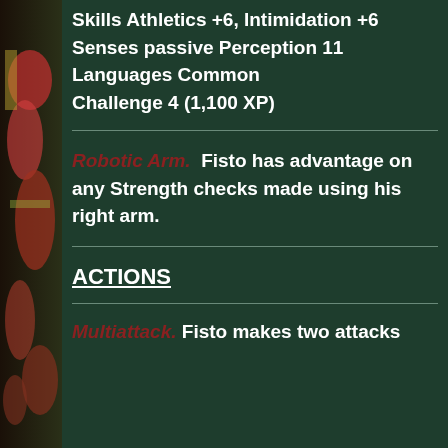Skills Athletics +6, Intimidation +6
Senses passive Perception 11
Languages Common
Challenge 4 (1,100 XP)
Robotic Arm. Fisto has advantage on any Strength checks made using his right arm.
ACTIONS
Multiattack. Fisto makes two attacks